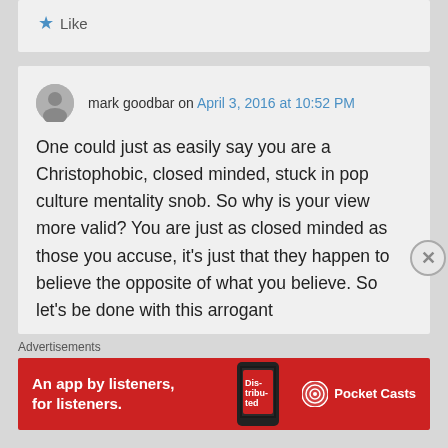★ Like
mark goodbar on April 3, 2016 at 10:52 PM
One could just as easily say you are a Christophobic, closed minded, stuck in pop culture mentality snob. So why is your view more valid? You are just as closed minded as those you accuse, it's just that they happen to believe the opposite of what you believe. So let's be done with this arrogant
Advertisements
[Figure (other): Pocket Casts advertisement banner: red background with text 'An app by listeners, for listeners.' and Pocket Casts logo with phone image showing 'Distributed' text]